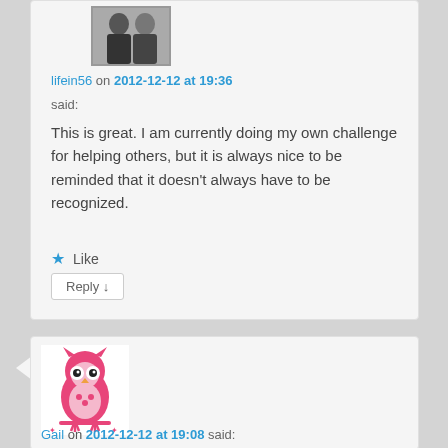[Figure (photo): Avatar photo of user lifein56 — two people in formal attire]
lifein56 on 2012-12-12 at 19:36
said:
This is great. I am currently doing my own challenge for helping others, but it is always nice to be reminded that it doesn't always have to be recognized.
★ Like
Reply ↓
[Figure (illustration): Avatar illustration of a pink cartoon owl sitting on a branch]
Gail on 2012-12-12 at 19:08 said: